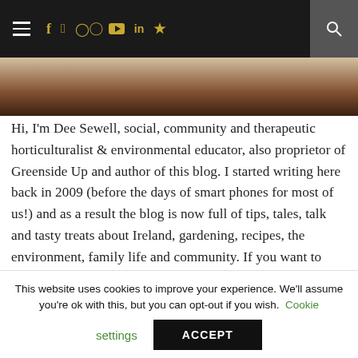Navigation bar with hamburger menu, social icons (f, twitter, instagram, pinterest, youtube, linkedin, rss), and search
[Figure (photo): Partial photo showing what appears to be bread or baked goods on a wooden surface, cropped at top of page]
Hi, I'm Dee Sewell, social, community and therapeutic horticulturalist & environmental educator, also proprietor of Greenside Up and author of this blog. I started writing here back in 2009 (before the days of smart phones for most of us!) and as a result the blog is now full of tips, tales, talk and tasty treats about Ireland, gardening, recipes, the environment, family life and community. If you want to find more about how we came to live in Ireland and
This website uses cookies to improve your experience. We'll assume you're ok with this, but you can opt-out if you wish. Cookie settings ACCEPT